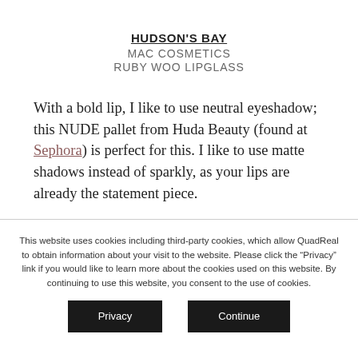HUDSON'S BAY
MAC COSMETICS
RUBY WOO LIPGLASS
With a bold lip, I like to use neutral eyeshadow; this NUDE pallet from Huda Beauty (found at Sephora) is perfect for this. I like to use matte shadows instead of sparkly, as your lips are already the statement piece.
This website uses cookies including third-party cookies, which allow QuadReal to obtain information about your visit to the website. Please click the “Privacy” link if you would like to learn more about the cookies used on this website. By continuing to use this website, you consent to the use of cookies.
Privacy   Continue